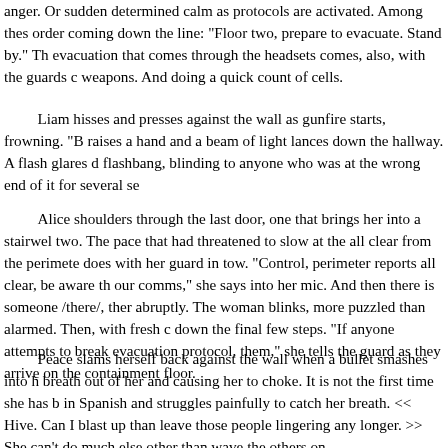anger. Or sudden determined calm as protocols are activated. Among these order coming down the line: "Floor two, prepare to evacuate. Stand by." The evacuation that comes through the headsets comes, also, with the guards collecting weapons. And doing a quick count of cells.
Liam hisses and presses against the wall as gunfire starts, frowning. "B raises a hand and a beam of light lances down the hallway. A flash glares d flashbang, blinding to anyone who was at the wrong end of it for several se
Alice shoulders through the last door, one that brings her into a stairwel two. The pace that had threatened to slow at the all clear from the perimete does with her guard in tow. "Control, perimeter reports all clear, be aware th our comms," she says into her mic. And then there is someone /there/, ther abruptly. The woman blinks, more puzzled than alarmed. Then, with fresh c down the final few steps. "If anyone attempts to break evacuation protocol, them," she tells the guard as they arrive on the containment floor.
Peace slams herself back against the wall when a bullet smashes into h breath out of her and causing her to choke. It is not the first time she has b in Spanish and struggles painfully to catch her breath. << Hive. Can I blast up than leave those people lingering any longer. >> She can't do much else other than wave the others on.
<< You'll be getting more than bullets in there soon, >> Hive's voice ripp though it's got a faintly puzzled undertone. And for the mutants /in/ the com interjection, sudden but calm: << You may have noticed there's some comn coming for you. To get you out of here. Be ready for them. If any of you /ca